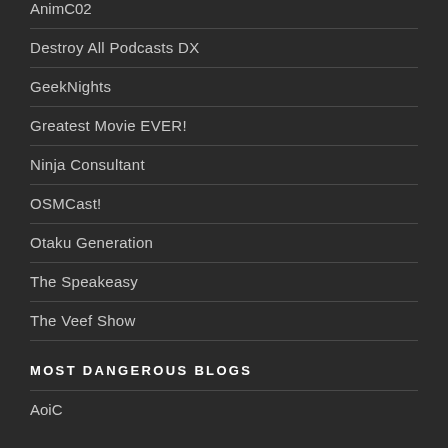AnimC02
Destroy All Podcasts DX
GeekNights
Greatest Movie EVER!
Ninja Consultant
OSMCast!
Otaku Generation
The Speakeasy
The Veef Show
MOST DANGEROUS BLOGS
AoiC